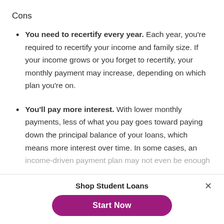Cons
You need to recertify every year. Each year, you're required to recertify your income and family size. If your income grows or you forget to recertify, your monthly payment may increase, depending on which plan you're on.
You'll pay more interest. With lower monthly payments, less of what you pay goes toward paying down the principal balance of your loans, which means more interest over time. In some cases, an income-driven payment plan may not even be enough
Shop Student Loans
Start Now